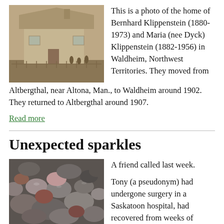[Figure (photo): Old black and white photograph of a farmhouse home with people standing outside, sepia toned]
This is a photo of the home of Bernhard Klippenstein (1880-1973) and Maria (nee Dyck) Klippenstein (1882-1956) in Waldheim, Northwest Territories. They moved from Altbergthal, near Altona, Man., to Waldheim around 1902. They returned to Altbergthal around 1907.
Read more
Unexpected sparkles
[Figure (photo): Close-up photograph of colorful smooth river rocks and pebbles of various sizes]
A friend called last week.

Tony (a pseudonym) had undergone surgery in a Saskatoon hospital, had recovered from weeks of